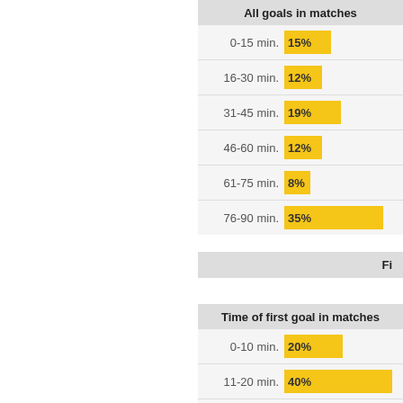[Figure (bar-chart): All goals in matches]
Fi
[Figure (bar-chart): Time of first goal in matches]